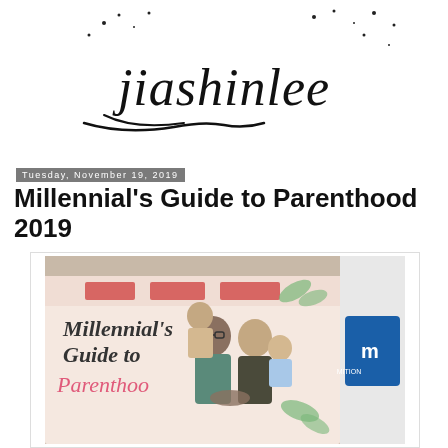[Figure (logo): Handwritten script logo reading 'jiashinlee' with decorative swirl underline and scattered dot accents]
Tuesday, November 19, 2019
Millennial's Guide to Parenthood 2019
[Figure (photo): Family photo in front of a 'Millennial's Guide to Parenthood' event banner. A man wearing glasses carries a child on his back; a woman beside him holds a toddler. Sponsor logos visible on the banner. A partial sign on the right side shows a blue logo.]